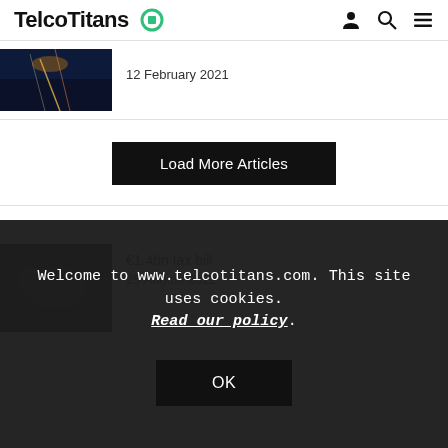TelcoTitans
12 February 2021
Load More Articles
€1.4bn tax bill
25 August 2022
Welcome to www.telcotitans.com. This site uses cookies. Read our policy.
OK